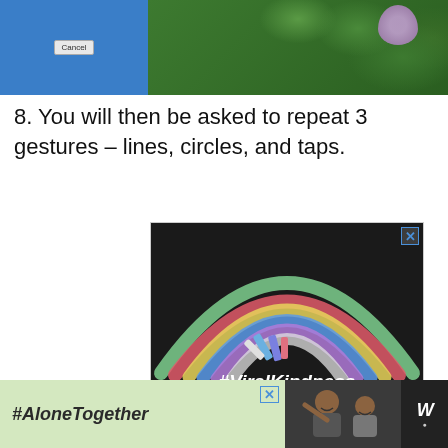[Figure (screenshot): Top image bar split into two sections: left blue panel with a Cancel button, right dark green panel with leaves and purple flower]
8. You will then be asked to repeat 3 gestures – lines, circles, and taps.
[Figure (photo): Advertisement image showing a chalk rainbow drawn on dark asphalt with chalk sticks, text #ViralKindness in bold white italic at bottom, close X button top right]
[Figure (photo): Bottom advertisement bar: left section with light green background showing #AloneTogether text, center section showing video thumbnail of two people waving, right section with W logo]